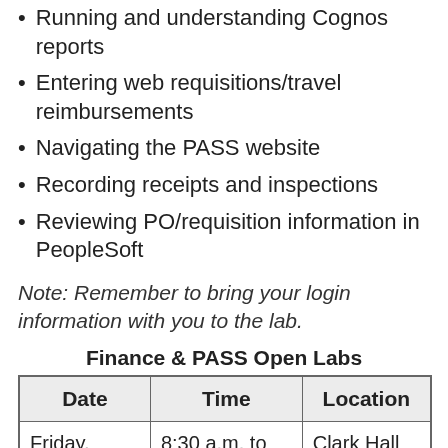Running and understanding Cognos reports
Entering web requisitions/travel reimbursements
Navigating the PASS website
Recording receipts and inspections
Reviewing PO/requisition information in PeopleSoft
Note: Remember to bring your login information with you to the lab.
Finance & PASS Open Labs
| Date | Time | Location |
| --- | --- | --- |
| Friday, August 12 | 8:30 a.m. to 11:30 a.m. | Clark Hall 503 |
| Friday, August 19 | 8:30 a.m. to 11:30 a.m. | Clark Hall 503 |